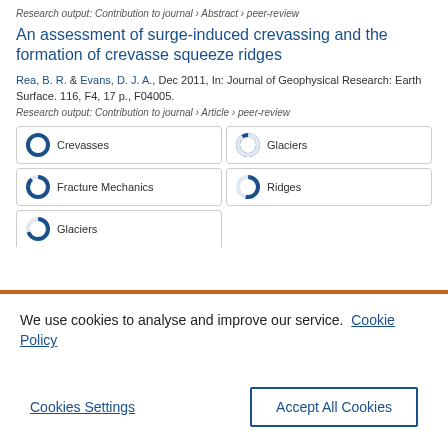Research output: Contribution to journal › Abstract › peer-review
An assessment of surge-induced crevassing and the formation of crevasse squeeze ridges
Rea, B. R. & Evans, D. J. A., Dec 2011, In: Journal of Geophysical Research: Earth Surface. 116, F4, 17 p., F04005.
Research output: Contribution to journal › Article › peer-review
Crevasses
Glaciers
Fracture Mechanics
Ridges
Glaciers
We use cookies to analyse and improve our service. Cookie Policy
Cookies Settings
Accept All Cookies